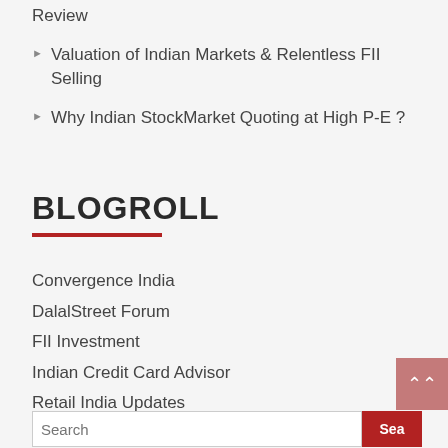Review
Valuation of Indian Markets & Relentless FII Selling
Why Indian StockMarket Quoting at High P-E ?
BLOGROLL
Convergence India
DalalStreet Forum
FII Investment
Indian Credit Card Advisor
Retail India Updates
Site Tags